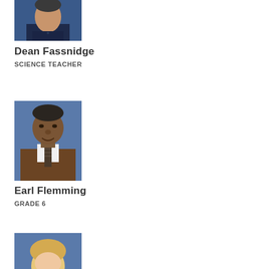[Figure (photo): Headshot of Dean Fassnidge, man in dark blue shirt, cropped at top]
Dean Fassnidge
SCIENCE TEACHER
[Figure (photo): Headshot of Earl Flemming, man in brown vest with tie, blue background]
Earl Flemming
GRADE 6
[Figure (photo): Partial headshot of a woman with blonde hair, blue background, cropped at bottom of page]